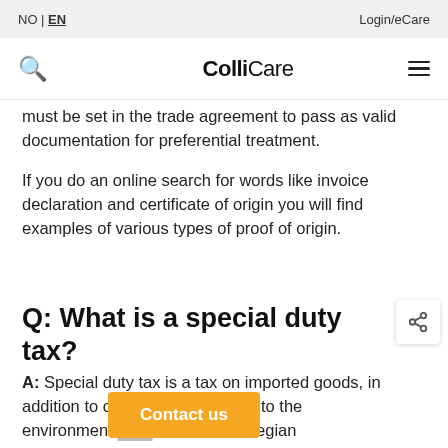NO | EN    Login/eCare
[Figure (logo): ColliCare logo with orange C icon and search/hamburger menu]
must be set in the trade agreement to pass as valid documentation for preferential treatment.
If you do an online search for words like invoice declaration and certificate of origin you will find examples of various types of proof of origin.
Q: What is a special duty tax?
A: Special duty tax is a tax on imported goods, in addition to cu... T. It can be due to the environment... tion with Norwegian